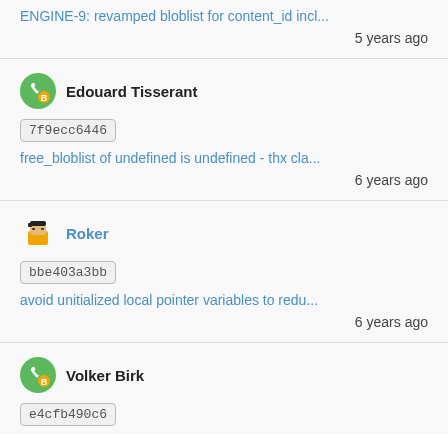ENGINE-9: revamped bloblist for content_id incl...
5 years ago
Edouard Tisserant
7f9ecc6446
free_bloblist of undefined is undefined - thx cla...
6 years ago
Roker
bbe403a3bb
avoid unitialized local pointer variables to redu...
6 years ago
Volker Birk
e4cfb490c6